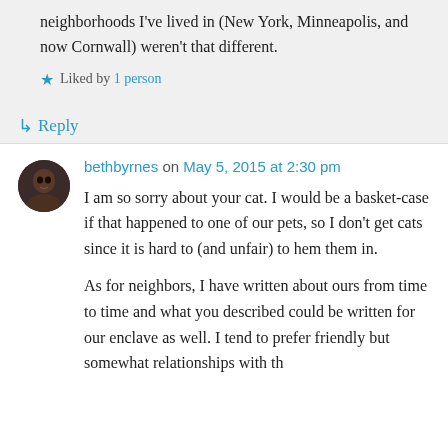neighborhoods I've lived in (New York, Minneapolis, and now Cornwall) weren't that different.
★ Liked by 1 person
↳ Reply
bethbyrnes on May 5, 2015 at 2:30 pm
I am so sorry about your cat. I would be a basket-case if that happened to one of our pets, so I don't get cats since it is hard to (and unfair) to hem them in.
As for neighbors, I have written about ours from time to time and what you described could be written for our enclave as well. I tend to prefer friendly but somewhat relationships with th...